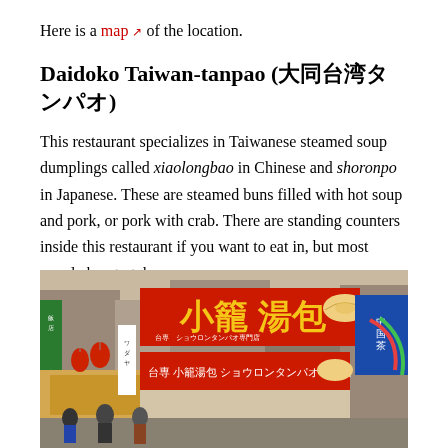Here is a map of the location.
Daidoko Taiwan-tanpao (大同台湾タンパオ)
This restaurant specializes in Taiwanese steamed soup dumplings called xiaolongbao in Chinese and shoronpo in Japanese. These are steamed buns filled with hot soup and pork, or pork with crab. There are standing counters inside this restaurant if you want to eat in, but most people buy to take away.
[Figure (photo): Street-level photo of the Daidoko Taiwan-tanpao restaurant facade showing large red signs with Chinese characters for xiaolongbao (小籠湯包), red paper lanterns, and neighboring shops including a Chinese tea shop with a blue sign.]